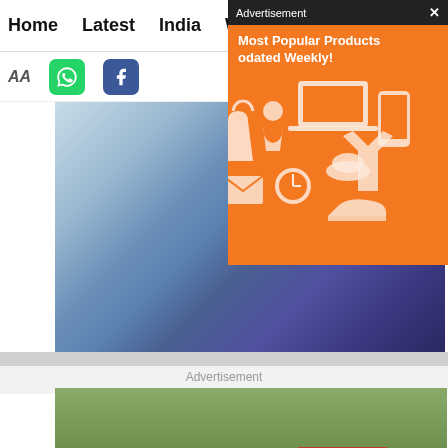Home   Latest   India   Wo...
[Figure (screenshot): Advertisement overlay with orange background showing 'Most Popular Products odated Weekly!' with product icons]
[Figure (photo): Sports/outdoor blurred photo with blue and purple tones]
Advertisement
[Figure (photo): Photo of people lying on grass at what appears to be an outdoor event with litter around]
[Figure (photo): Bottom banner ad: woman's face with red lipstick, text 'KISS BORING LIPS GOODBYE', 'SHOP NOW', Macy's logo]